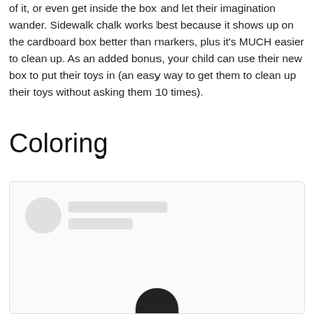of it, or even get inside the box and let their imagination wander. Sidewalk chalk works best because it shows up on the cardboard box better than markers, plus it's MUCH easier to clean up. As an added bonus, your child can use their new box to put their toys in (an easy way to get them to clean up their toys without asking them 10 times).
Coloring
[Figure (other): Embedded content card with loading placeholder showing a circle avatar and two gray lines, and a dark rounded shape at the bottom center.]